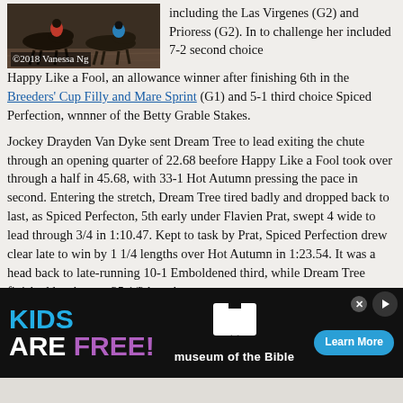[Figure (photo): Horse racing photograph with horses and jockeys, copyright 2018 Vanessa Ng watermark]
including the Las Virgenes (G2) and Prioress (G2). In to challenge her included 7-2 second choice Happy Like a Fool, an allowance winner after finishing 6th in the Breeders' Cup Filly and Mare Sprint (G1) and 5-1 third choice Spiced Perfection, wnnner of the Betty Grable Stakes.
Jockey Drayden Van Dyke sent Dream Tree to lead exiting the chute through an opening quarter of 22.68 beefore Happy Like a Fool took over through a half in 45.68, with 33-1 Hot Autumn pressing the pace in second. Entering the stretch, Dream Tree tired badly and dropped back to last, as Spiced Perfecton, 5th early under Flavien Prat, swept 4 wide to lead through 3/4 in 1:10.47. Kept to task by Prat, Spiced Perfection drew clear late to win by 1 1/4 lengths over Hot Autumn in 1:23.54. It was a head back to late-running 10-1 Emboldened third, while Dream Tree finished last beaten 25 1/2 lengths.
infolinks Chart from DRF.
[Figure (screenshot): Advertisement banner: KIDS ARE FREE! museum of the Bible, Learn More button]